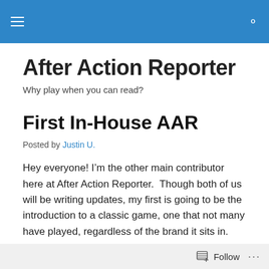After Action Reporter [navigation bar]
After Action Reporter
Why play when you can read?
First In-House AAR
Posted by Justin U.
Hey everyone! I’m the other main contributor here at After Action Reporter.  Though both of us will be writing updates, my first is going to be the introduction to a classic game, one that not many have played, regardless of the brand it sits in.
Follow ...